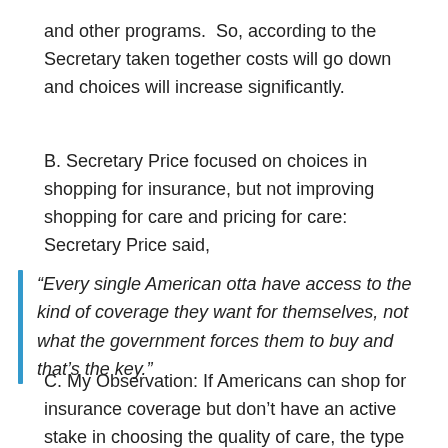and other programs.  So, according to the Secretary taken together costs will go down and choices will increase significantly.
B. Secretary Price focused on choices in shopping for insurance, but not improving shopping for care and pricing for care: Secretary Price said,
“Every single American otta have access to the kind of coverage they want for themselves, not what the government forces them to buy and that’s the key.”
C. My Observation: If Americans can shop for insurance coverage but don’t have an active stake in choosing the quality of care, the type of care and the cost of care, I